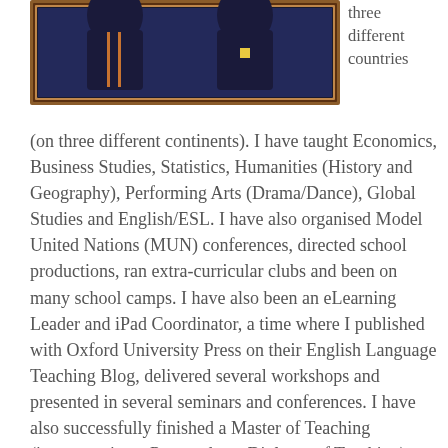[Figure (photo): Two people in dark graduation gowns and caps, photo with decorative border]
three different countries (on three different continents). I have taught Economics, Business Studies, Statistics, Humanities (History and Geography), Performing Arts (Drama/Dance), Global Studies and English/ESL. I have also organised Model United Nations (MUN) conferences, directed school productions, ran extra-curricular clubs and been on many school camps. I have also been an eLearning Leader and iPad Coordinator, a time where I published with Oxford University Press on their English Language Teaching Blog, delivered several workshops and presented in several seminars and conferences. I have also successfully finished a Master of Teaching (incorporating a Postgraduate Diploma of Teaching) at the University of Melbourne, Australia. I was also awarded a 'Top Performers' Award – Silver Category' in 2013 during my employment at the Australian